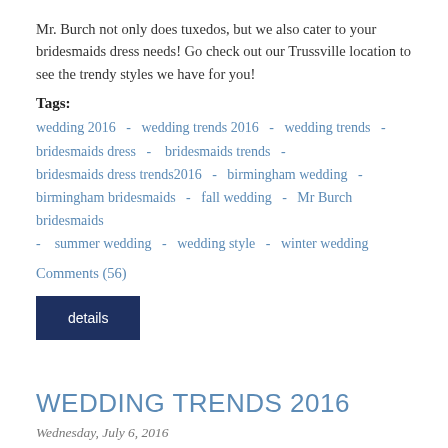Mr. Burch not only does tuxedos, but we also cater to your bridesmaids dress needs! Go check out our Trussville location to see the trendy styles we have for you!
Tags:
wedding 2016 - wedding trends 2016 - wedding trends - bridesmaids dress - bridesmaids trends - bridesmaids dress trends2016 - birmingham wedding - birmingham bridesmaids - fall wedding - Mr Burch bridesmaids - summer wedding - wedding style - winter wedding
Comments (56)
details
WEDDING TRENDS 2016
Wednesday, July 6, 2016
Themes, and flowers, and color schemes, oh my! Wedding season is here and unless you hired a wedding planner, which we recommend to help your wedding experience be the best it could be, your to-do list is getting longer! Picking a dress, choosing a tux, deciding on flowers, debating over location, all of these things need to be done just to start the wedding process. Never fear! We have the hottest wedding trends of 2016 to help